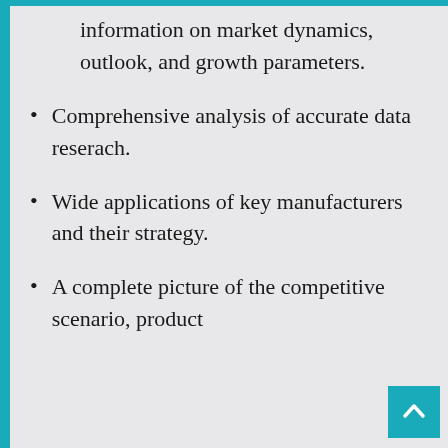information on market dynamics, outlook, and growth parameters.
Comprehensive analysis of accurate data reserach.
Wide applications of key manufacturers and their strategy.
A complete picture of the competitive scenario, product